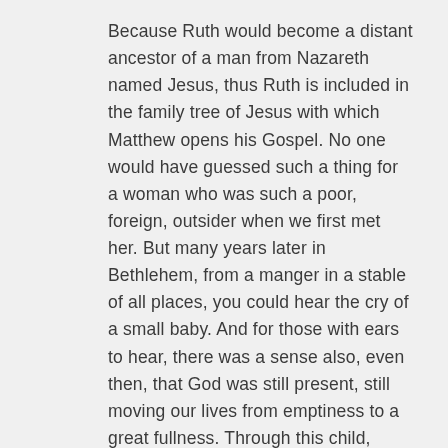Because Ruth would become a distant ancestor of a man from Nazareth named Jesus, thus Ruth is included in the family tree of Jesus with which Matthew opens his Gospel. No one would have guessed such a thing for a woman who was such a poor, foreign, outsider when we first met her. But many years later in Bethlehem, from a manger in a stable of all places, you could hear the cry of a small baby. And for those with ears to hear, there was a sense also, even then, that God was still present, still moving our lives from emptiness to a great fullness. Through this child, moving us to adoption into God's family.